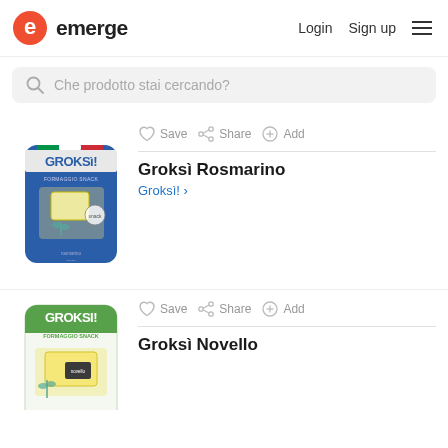emerge | Login | Sign up
Che prodotto stai cercando?
[Figure (photo): Groksì Rosmarino product package – blue bag with GROKSì! branding and cheese/herbs imagery]
Save | Share | Add
Groksì Rosmarino
Groksì!
[Figure (photo): Groksì Novello product package – white/green bag with GROKSI! Formaggio Snack branding and cheese imagery]
Save | Share | Add
Groksì Novello